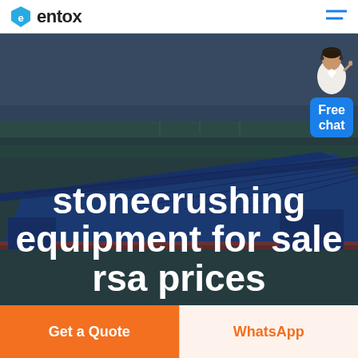entox (logo)
[Figure (photo): Aerial view of a large industrial facility with blue rooftop structures, overlaid with semi-transparent dark blue tint.]
stonecrushing equipment for sale rsa prices
[Figure (illustration): Customer service representative figure with 'Free chat' blue button overlay in top-right corner of hero image.]
Get a Quote
WhatsApp